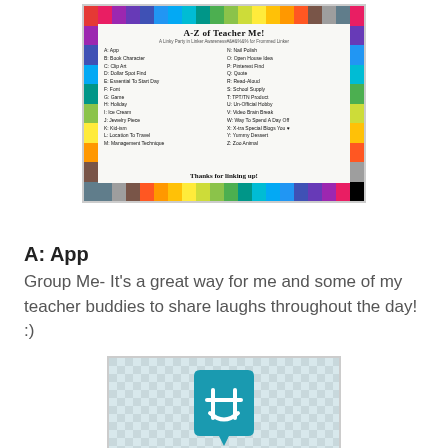[Figure (infographic): A-Z of Teacher Me! infographic with colorful crayon border listing alphabet items: A: App, B: Book Character, C: Clip Art, D: Dollar Spot Find, E: Essential To Start Day, F: Font, G: Game, H: Holiday, I: Ice Cream, J: Jewelry Piece, K: Kid-ism, L: Location To Travel, M: Management Technique, N: Nail Polish, O: Open House Idea, P: Pinterest Find, Q: Quote, R: Read-Aloud, S: School Supply, T: TPT/TN Product, U: Un-Official Hobby, V: Video Brain Break, W: Way To Spend A Day Off, X: Xtra Special Blogs You, Y: Yummy Dessert, Z: Zoo Animal. Thanks for linking up!]
A: App
Group Me- It's a great way for me and some of my teacher buddies to share laughs throughout the day! :)
[Figure (logo): GroupMe app logo: teal/blue speech bubble with a hash/smiley icon on a light grey checkered background]